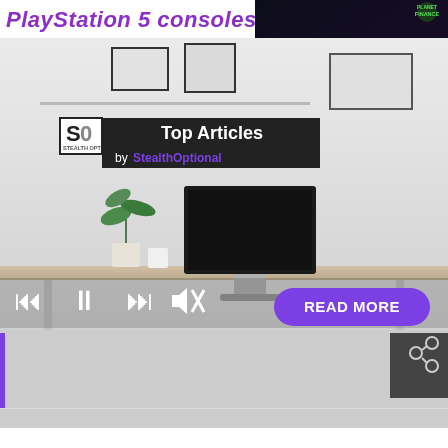PlayStation 5 consoles b
[Figure (screenshot): Planet Finance 2.0 thumbnail showing trading chart on screen with large white 2.0 text]
[Figure (screenshot): StealthOptional Top Articles video player showing interior room with monitor, plant, media controls and READ MORE button]